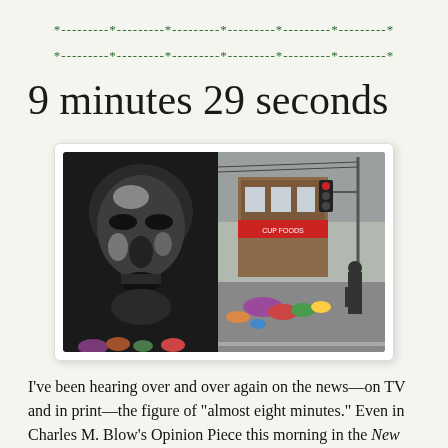*---------*---------*---------*---------*---------*---------*
*---------*---------*---------*---------*---------*---------*
9 minutes 29 seconds
[Figure (photo): A black-and-white mural of George Floyd's face on the left, with a street memorial scene on the right showing Cup Foods store, flowers, people, and a traffic light on a wet street.]
I've been hearing over and over again on the news—on TV and in print—the figure of "almost eight minutes." Even in Charles M. Blow's Opinion Piece this morning in the New